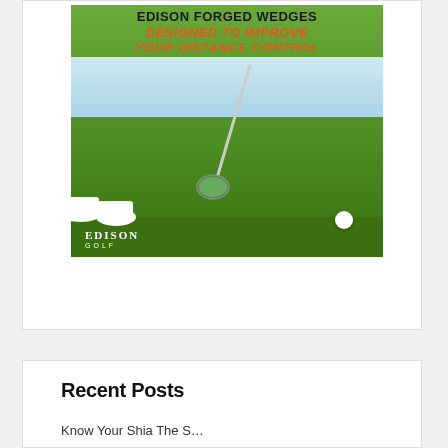[Figure (photo): Edison Forged Wedges advertisement showing a golf club near a ball on green grass, with text 'EDISON FORGED WEDGES DESIGNED TO IMPROVE YOUR DISTANCE CONTROL' and Edison Golf logo]
Recent Posts
Know Your Shia The S...